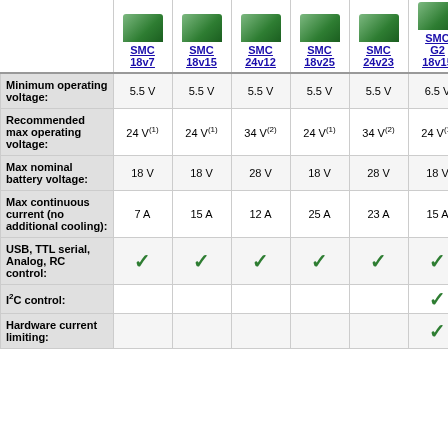|  | SMC 18v7 | SMC 18v15 | SMC 24v12 | SMC 18v25 | SMC 24v23 | SMC G2 18v15 | SMC G2 24... |
| --- | --- | --- | --- | --- | --- | --- | --- |
| Minimum operating voltage: | 5.5 V | 5.5 V | 5.5 V | 5.5 V | 5.5 V | 6.5 V | 6. |
| Recommended max operating voltage: | 24 V(1) | 24 V(1) | 34 V(2) | 24 V(1) | 34 V(2) | 24 V(1) | 34 |
| Max nominal battery voltage: | 18 V | 18 V | 28 V | 18 V | 28 V | 18 V | 28 |
| Max continuous current (no additional cooling): | 7 A | 15 A | 12 A | 25 A | 23 A | 15 A | 12 |
| USB, TTL serial, Analog, RC control: | ✓ | ✓ | ✓ | ✓ | ✓ | ✓ | ✓ |
| I²C control: |  |  |  |  |  | ✓ | ✓ |
| Hardware current limiting: |  |  |  |  |  | ✓ | ✓ |